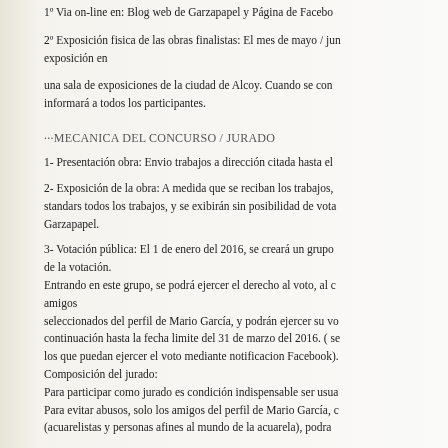1º Via on-line en: Blog web de Garzapapel y Página de Facebo
2º Exposición fisica de las obras finalistas: El mes de mayo / jun exposición en
una sala de exposiciones de la ciudad de Alcoy. Cuando se con informará a todos los participantes.
···MECANICA DEL CONCURSO / JURADO
1- Presentación obra: Envio trabajos a dirección citada hasta el
2- Exposición de la obra: A medida que se reciban los trabajos, standars todos los trabajos, y se exibirán sin posibilidad de vota Garzapapel.
3- Votación pública: El 1 de enero del 2016, se creará un grupo de la votación.
Entrando en este grupo, se podrá ejercer el derecho al voto, al c amigos
seleccionados del perfil de Mario García, y podrán ejercer su vo continuación hasta la fecha limite del 31 de marzo del 2016. ( se los que puedan ejercer el voto mediante notificacion Facebook).
Composición del jurado:
Para participar como jurado es condición indispensable ser usua
Para evitar abusos, solo los amigos del perfil de Mario García, c
(acuarelistas y personas afines al mundo de la acuarela), podra